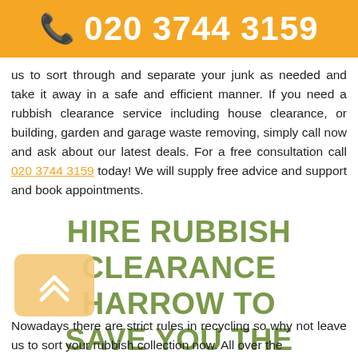☎ 020 3744 3159
us to sort through and separate your junk as needed and take it away in a safe and efficient manner. If you need a rubbish clearance service including house clearance, or building, garden and garage waste removing, simply call now and ask about our latest deals. For a free consultation call 020 3744 3159 today! We will supply free advice and support and book appointments.
HIRE RUBBISH CLEARANCE HARROW TO SAVE YOU THE TROUBLE
[Figure (illustration): Back to top button - orange/yellow rounded square with double chevron up arrow]
Nowadays there are strict rules in recycling so why not leave us to sort your rubbish collection now. All over the